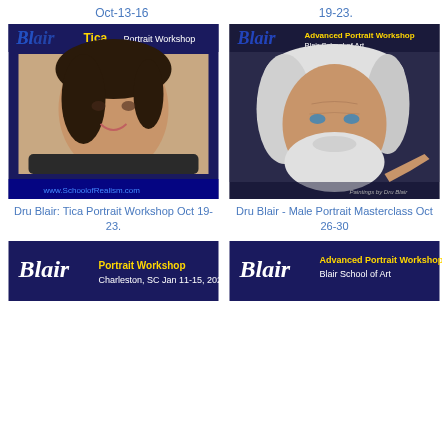Oct-13-16
19-23.
[Figure (photo): Dru Blair Tica Portrait Workshop promotional image showing a young woman with dark hair smiling, on a dark navy blue background with Blair logo and www.SchoolofRealism.com]
[Figure (photo): Blair Advanced Portrait Workshop - Blair School of Art promotional image showing an elderly man with white hair and beard, with a hand holding a brush, on dark background]
Dru Blair: Tica Portrait Workshop Oct 19-23.
Dru Blair - Male Portrait Masterclass Oct 26-30
[Figure (photo): Blair Portrait Workshop Charleston, SC Jan 11-15, 2023 promotional banner on dark blue/purple background]
[Figure (photo): Blair Advanced Portrait Workshop - Blair School of Art promotional banner on dark blue/purple background]